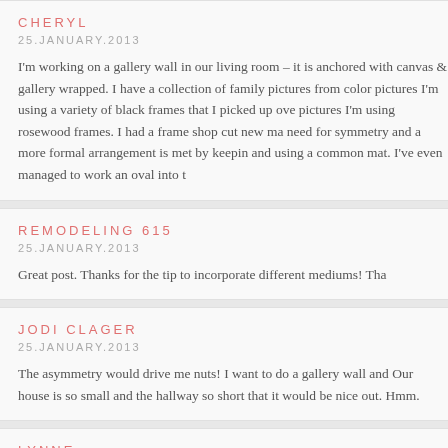CHERYL
25.JANUARY.2013
I'm working on a gallery wall in our living room – it is anchored with canvas & gallery wrapped. I have a collection of family pictures from color pictures I'm using a variety of black frames that I picked up ove pictures I'm using rosewood frames. I had a frame shop cut new ma need for symmetry and a more formal arrangement is met by keepin and using a common mat. I've even managed to work an oval into th
REMODELING 615
25.JANUARY.2013
Great post. Thanks for the tip to incorporate different mediums! Tha
JODI CLAGER
25.JANUARY.2013
The asymmetry would drive me nuts! I want to do a gallery wall and Our house is so small and the hallway so short that it would be nice out. Hmm.
LYNNE